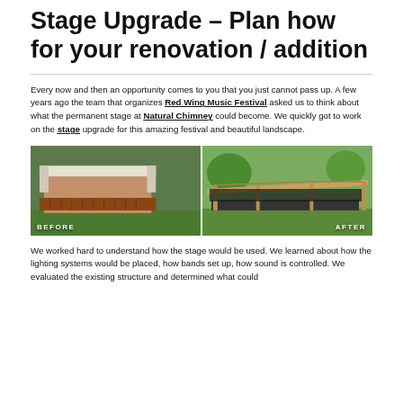Stage Upgrade – Plan how for your renovation / addition
Every now and then an opportunity comes to you that you just cannot pass up. A few years ago the team that organizes Red Wing Music Festival asked us to think about what the permanent stage at Natural Chimney could become. We quickly got to work on the stage upgrade for this amazing festival and beautiful landscape.
[Figure (photo): Before and after comparison photos of a stage upgrade at Natural Chimney. Left side labeled 'BEFORE' shows a brown metal building with a covered stage. Right side labeled 'AFTER' shows an open-air wooden structure stage with a slanted roof and exposed timber framing.]
We worked hard to understand how the stage would be used. We learned about how the lighting systems would be placed, how bands set up, how sound is controlled. We evaluated the existing structure and determined what could